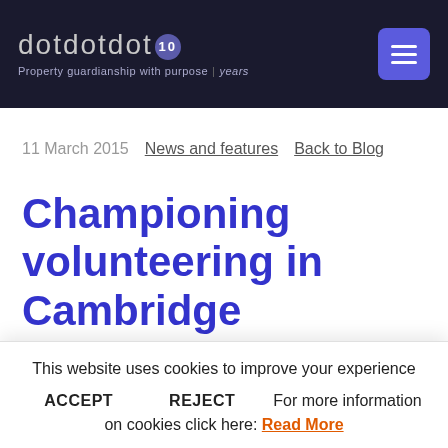dotdotdot | Property guardianship with purpose | 10 years
11 March 2015   News and features   Back to Blog
Championing volunteering in Cambridge
This website uses cookies to improve your experience
ACCEPT   REJECT   For more information on cookies click here: Read More